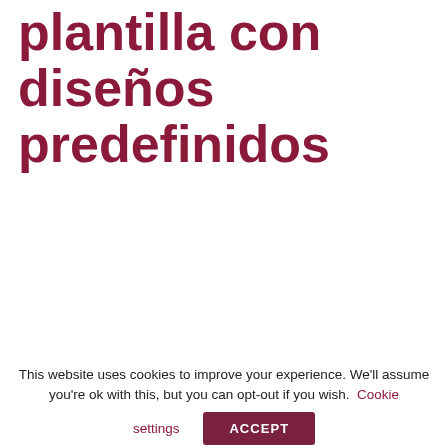plantilla con diseños predefinidos
No puedes ver esta lección porque aún no has iniciado sesión. You cannot view this unit as you're not logged in yet.
This website uses cookies to improve your experience. We'll assume you're ok with this, but you can opt-out if you wish. Cookie settings ACCEPT